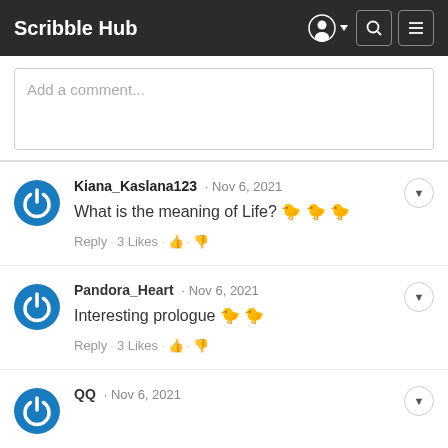Scribble Hub
Add a comment...
Kiana_Kaslana123 · Nov 6, 2021
What is the meaning of Life? 🐥🐥🐥
Reply · 3 Likes · 👍 · 👎
Pandora_Heart · Nov 6, 2021
Interesting prologue 🐥🐥
Reply · 3 Likes · 👍 · 👎
QQ · Nov 6, 2021